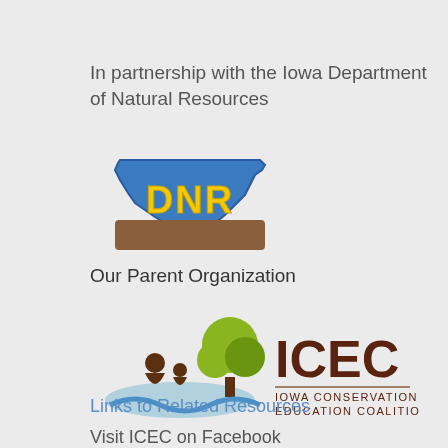In partnership with the Iowa Department of Natural Resources
[Figure (logo): Iowa DNR logo with blue state outline and yellow 'DNR' letters on brown base]
Our Parent Organization
[Figure (logo): ICEC - Iowa Conservation Education Coalition logo with tree and figures]
Links to Related Resources
Visit ICEC on Facebook